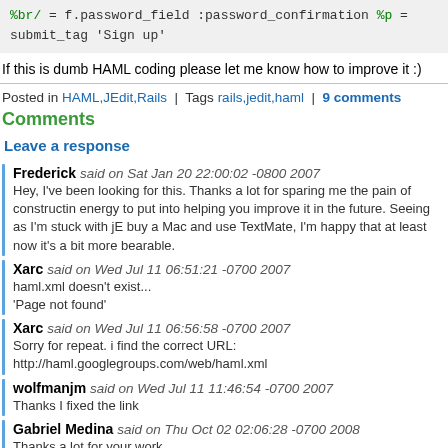%br/
    = f.password_field :password_confirmation

  %p
    = submit_tag 'Sign up'
If this is dumb HAML coding please let me know how to improve it :)
Posted in HAML,JEdit,Rails | Tags rails,jedit,haml | 9 comments
Comments
Leave a response
Frederick said on Sat Jan 20 22:00:02 -0800 2007
Hey, I've been looking for this. Thanks a lot for sparing me the pain of constructing energy to put into helping you improve it in the future. Seeing as I'm stuck with jE buy a Mac and use TextMate, I'm happy that at least now it's a bit more bearable.
Xarc said on Wed Jul 11 06:51:21 -0700 2007
haml.xml doesn't exist...
'Page not found'
Xarc said on Wed Jul 11 06:56:58 -0700 2007
Sorry for repeat. i find the correct URL:
http://haml.googlegroups.com/web/haml.xml
wolfmanjm said on Wed Jul 11 11:46:54 -0700 2007
Thanks I fixed the link
Gabriel Medina said on Thu Oct 02 02:06:28 -0700 2008
Thanks a lot for your work